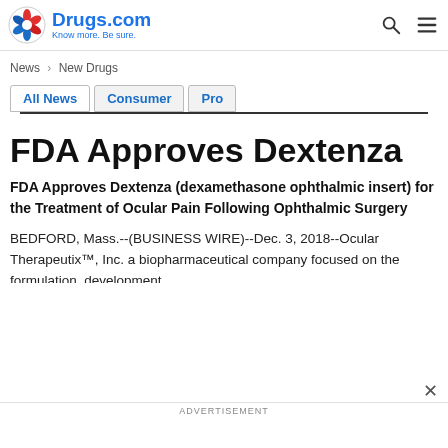Drugs.com — Know more. Be sure.
News > New Drugs
All News | Consumer | Pro
FDA Approves Dextenza
FDA Approves Dextenza (dexamethasone ophthalmic insert) for the Treatment of Ocular Pain Following Ophthalmic Surgery
BEDFORD, Mass.--(BUSINESS WIRE)--Dec. 3, 2018--Ocular Therapeutix™, Inc. a biopharmaceutical company focused on the formulation, development
ADVERTISEMENT